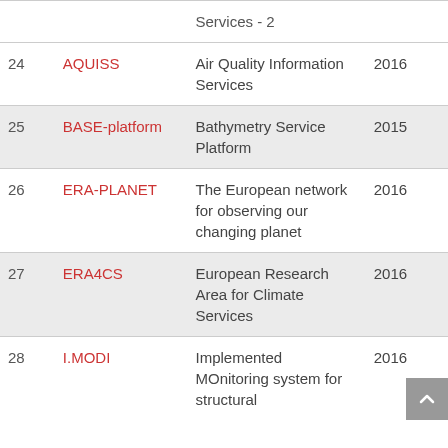| # | Name | Description | Year |
| --- | --- | --- | --- |
|  |  | Services - 2 |  |
| 24 | AQUISS | Air Quality Information Services | 2016 |
| 25 | BASE-platform | Bathymetry Service Platform | 2015 |
| 26 | ERA-PLANET | The European network for observing our changing planet | 2016 |
| 27 | ERA4CS | European Research Area for Climate Services | 2016 |
| 28 | I.MODI | Implemented MOnitoring system for structural | 2016 |